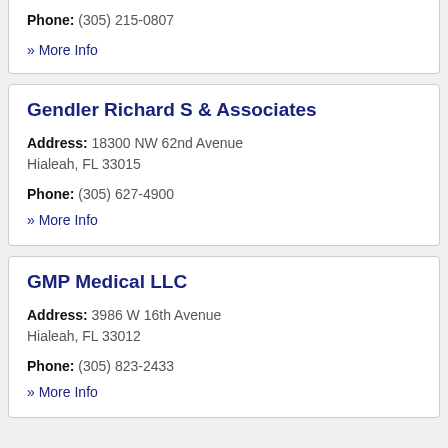Phone: (305) 215-0807
» More Info
Gendler Richard S & Associates
Address: 18300 NW 62nd Avenue Hialeah, FL 33015
Phone: (305) 627-4900
» More Info
GMP Medical LLC
Address: 3986 W 16th Avenue Hialeah, FL 33012
Phone: (305) 823-2433
» More Info